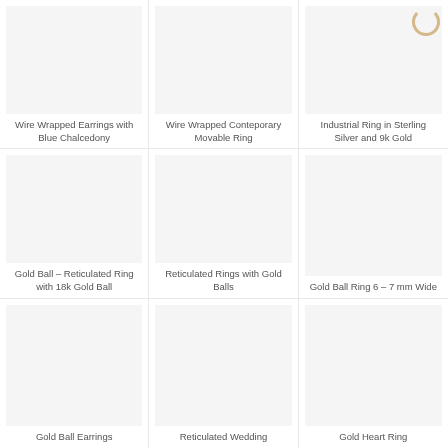[Figure (photo): Product image placeholder for Wire Wrapped Earrings with Blue Chalcedony]
Wire Wrapped Earrings with Blue Chalcedony
[Figure (photo): Product image placeholder for Wire Wrapped Conteporary Movable Ring]
Wire Wrapped Conteporary Movable Ring
[Figure (photo): Product image placeholder for Industrial Ring in Sterling Silver and 9k Gold with loading spinner]
Industrial Ring in Sterling Silver and 9k Gold
[Figure (photo): Product image placeholder for Gold Ball – Reticulated Ring with 18k Gold Ball]
Gold Ball – Reticulated Ring with 18k Gold Ball
[Figure (photo): Product image placeholder for Reticulated Rings with Gold Balls]
Reticulated Rings with Gold Balls
[Figure (photo): Product image placeholder for Gold Ball Ring 6 – 7 mm Wide]
Gold Ball Ring 6 – 7 mm Wide
[Figure (photo): Product image placeholder for Gold Ball Earrings]
Gold Ball Earrings
[Figure (photo): Product image placeholder for Reticulated Wedding]
Reticulated Wedding
[Figure (photo): Product image placeholder for Gold Heart Ring]
Gold Heart Ring